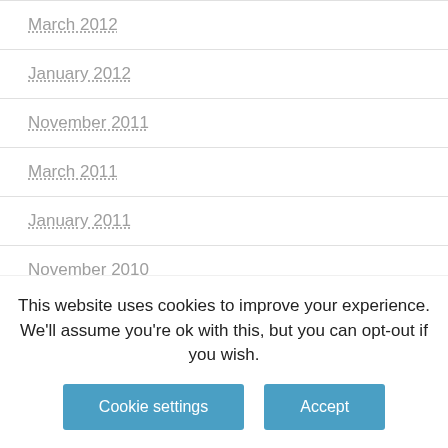March 2012
January 2012
November 2011
March 2011
January 2011
November 2010
September 2010
August 2010
This website uses cookies to improve your experience. We'll assume you're ok with this, but you can opt-out if you wish.